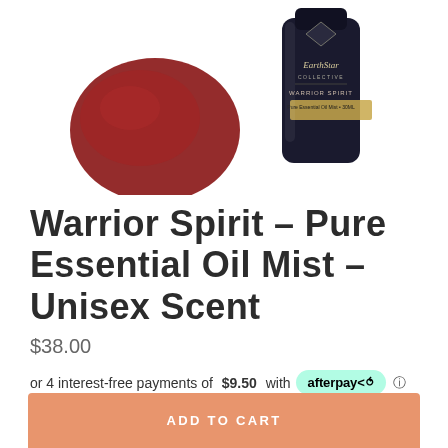[Figure (photo): Product photo showing a dark glass bottle with 'EarthStar Collective - Warrior Spirit - Pure Essential Oil Mist' label, alongside dark red/burgundy smooth stones on a white background.]
Warrior Spirit – Pure Essential Oil Mist – Unisex Scent
$38.00
or 4 interest-free payments of $9.50 with afterpay
ADD TO CART